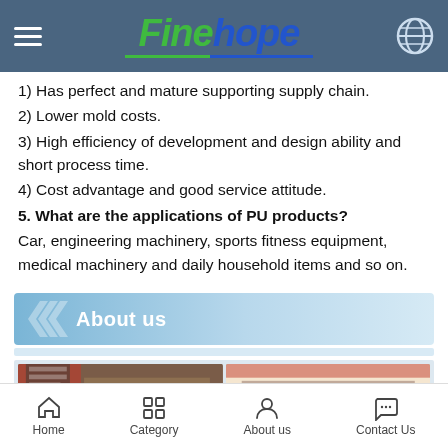Finehope
1) Has perfect and mature supporting supply chain.
2) Lower mold costs.
3) High efficiency of development and design ability and short process time.
4) Cost advantage and good service attitude.
5. What are the applications of PU products?
Car, engineering machinery, sports fitness equipment, medical machinery and daily household items and so on.
About us
[Figure (photo): Grid of four office/workplace photos showing employees working in a modern office environment]
Home | Category | About us | Contact Us